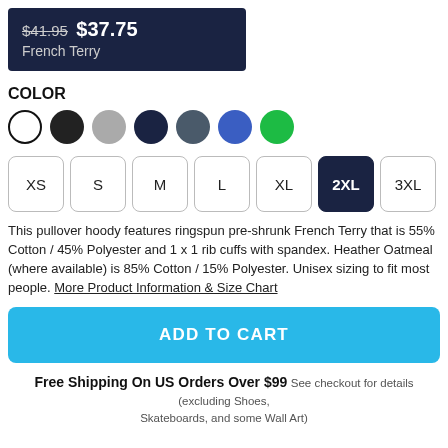$41.95 $37.75
French Terry
COLOR
[Figure (other): Color swatches: white (selected), black, grey, navy, slate, blue, green]
[Figure (other): Size selector buttons: XS, S, M, L, XL, 2XL (selected/highlighted), 3XL]
This pullover hoody features ringspun pre-shrunk French Terry that is 55% Cotton / 45% Polyester and 1 x 1 rib cuffs with spandex. Heather Oatmeal (where available) is 85% Cotton / 15% Polyester. Unisex sizing to fit most people. More Product Information & Size Chart
ADD TO CART
Free Shipping On US Orders Over $99 See checkout for details (excluding Shoes, Skateboards, and some Wall Art)